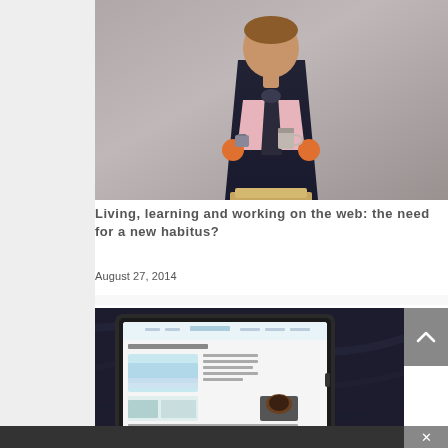[Figure (photo): A painted wooden peg doll figurine dressed as a professional/teacher, wearing a dark outfit with a pink tie and accessories, on a tan wooden base, photographed against a grey background.]
Living, learning and working on the web: the need for a new habitus?
August 27, 2014
[Figure (screenshot): A tablet/laptop computer displaying a blog or website on a dark marble surface.]